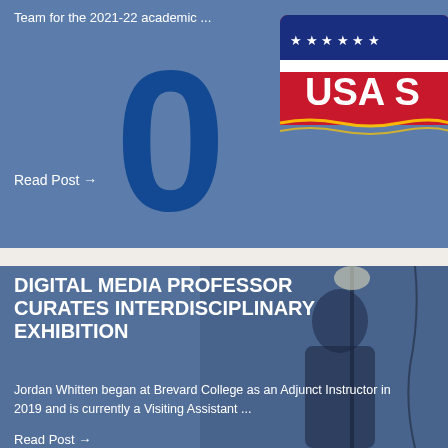[Figure (photo): Blue-tinted photo showing a large number '0' and a USA Swimming/sports logo banner in the background, top section of a blog post card]
Team for the 2021-22 academic ...
Read Post →
[Figure (photo): Blue-tinted photo of a man (Jordan Whitten) sitting, with studio lighting equipment visible in the background, bottom section of a blog post card]
DIGITAL MEDIA PROFESSOR CURATES INTERDISCIPLINARY EXHIBITION
Jordan Whitten began at Brevard College as an Adjunct Instructor in 2019 and is currently a Visiting Assistant ...
Read Post →